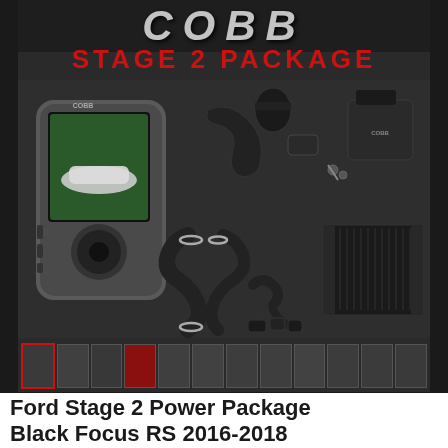[Figure (photo): COBB Stage 2 Package product image showing COBB Accessport device and intercooler kit components including intake pipes, couplers, clamps, and intercooler for Ford Focus RS]
[Figure (photo): Thumbnail strip showing 12 small product photos of the COBB Stage 2 Power Package components]
Ford Stage 2 Power Package Black Focus RS 2016-2018